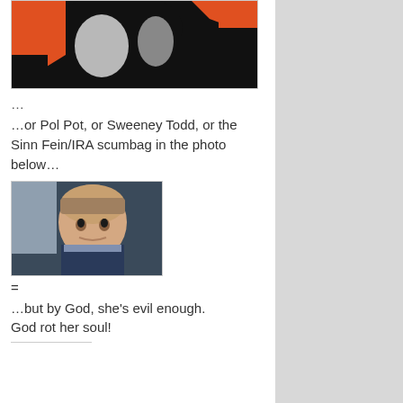[Figure (illustration): High contrast black and red illustration, appears to be a stylized graphic with black shapes on orange/red background]
…
…or Pol Pot, or Sweeney Todd, or the Sinn Fein/IRA scumbag in the photo below…
[Figure (photo): Photograph of an older man with grey hair, wearing a dark suit, mouth slightly open, looking to the side]
=
…but by God, she's evil enough.
God rot her soul!